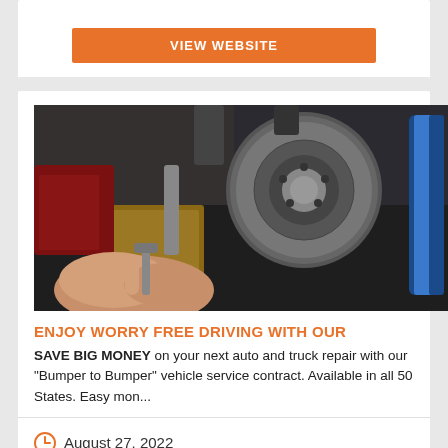[Figure (other): Orange VIEW WEBSITE button at top of card]
[Figure (photo): Photo of a mechanic's hands working on a car brake disc/rotor in an auto repair shop]
ENJOY WORRY FREE DRIVING WITH OUR
SAVE BIG MONEY on your next auto and truck repair with our "Bumper to Bumper" vehicle service contract. Available in all 50 States. Easy mon...
August 27, 2022